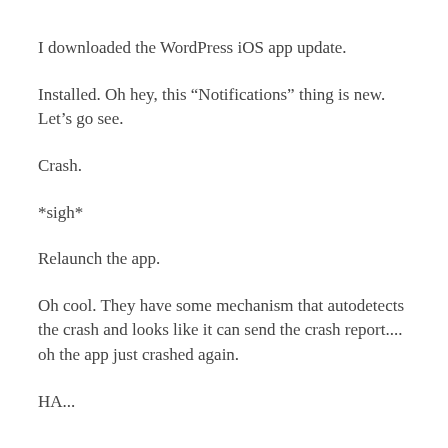I downloaded the WordPress iOS app update.
Installed. Oh hey, this “Notifications” thing is new. Let’s go see.
Crash.
*sigh*
Relaunch the app.
Oh cool. They have some mechanism that autodetects the crash and looks like it can send the crash report.... oh the app just crashed again.
HA...